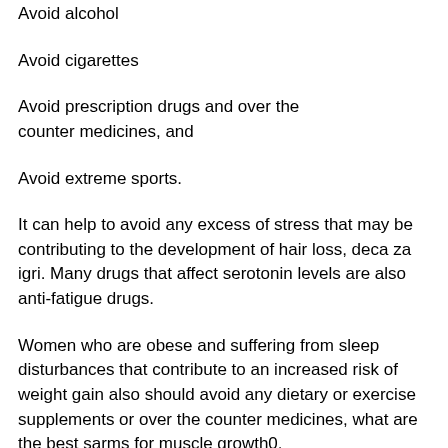Avoid alcohol
Avoid cigarettes
Avoid prescription drugs and over the counter medicines, and
Avoid extreme sports.
It can help to avoid any excess of stress that may be contributing to the development of hair loss, deca za igri. Many drugs that affect serotonin levels are also anti-fatigue drugs.
Women who are obese and suffering from sleep disturbances that contribute to an increased risk of weight gain also should avoid any dietary or exercise supplements or over the counter medicines, what are the best sarms for muscle growth0.
For men